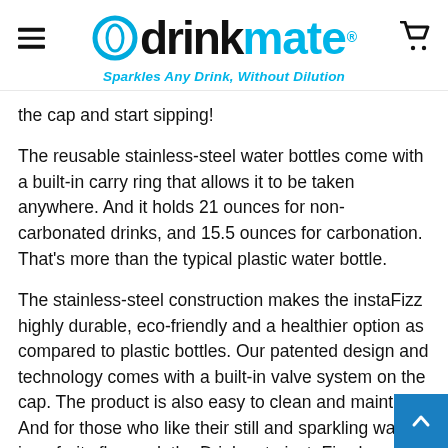drinkmate® — Sparkles Any Drink, Without Dilution
the cap and start sipping!
The reusable stainless-steel water bottles come with a built-in carry ring that allows it to be taken anywhere. And it holds 21 ounces for non-carbonated drinks, and 15.5 ounces for carbonation. That's more than the typical plastic water bottle.
The stainless-steel construction makes the instaFizz highly durable, eco-friendly and a healthier option as compared to plastic bottles. Our patented design and technology comes with a built-in valve system on the cap. The product is also easy to clean and maintain. And for those who like their still and sparkling water ic or fruity flavored, the Drinkmate instaFizz has a w 1.5-inch bottle opening to allow ice, strawberries, or